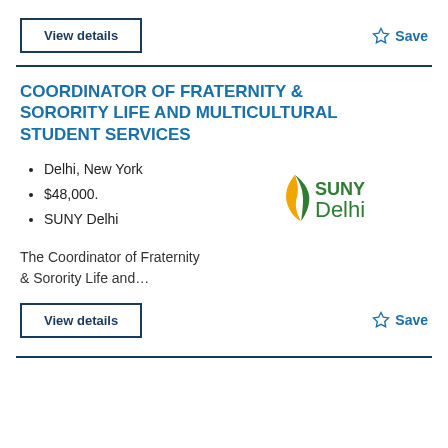View details
☆ Save
COORDINATOR OF FRATERNITY & SORORITY LIFE AND MULTICULTURAL STUDENT SERVICES
Delhi, New York
$48,000.
SUNY Delhi
[Figure (logo): SUNY Delhi logo with green and gold leaf graphic]
The Coordinator of Fraternity & Sorority Life and...
View details
☆ Save